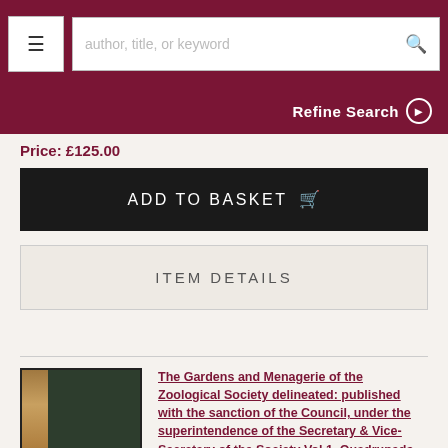≡  author, title, or keyword  🔍
Refine Search ❯
Price: £125.00
ADD TO BASKET 🛒
ITEM DETAILS
[Figure (photo): Book cover of The Gardens and Menagerie of the Zoological Society, dark green cloth binding with brown spine, copyright MW Books]
The Gardens and Menagerie of the Zoological Society delineated: published with the sanction of the Council, under the superintendence of the Secretary & Vice-Secretary of the Society Vol 1. Quadrupeds
Zoological Society of London